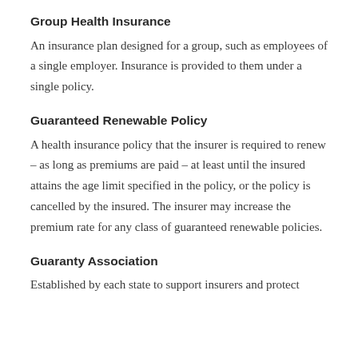Group Health Insurance
An insurance plan designed for a group, such as employees of a single employer. Insurance is provided to them under a single policy.
Guaranteed Renewable Policy
A health insurance policy that the insurer is required to renew – as long as premiums are paid – at least until the insured attains the age limit specified in the policy, or the policy is cancelled by the insured. The insurer may increase the premium rate for any class of guaranteed renewable policies.
Guaranty Association
Established by each state to support insurers and protect